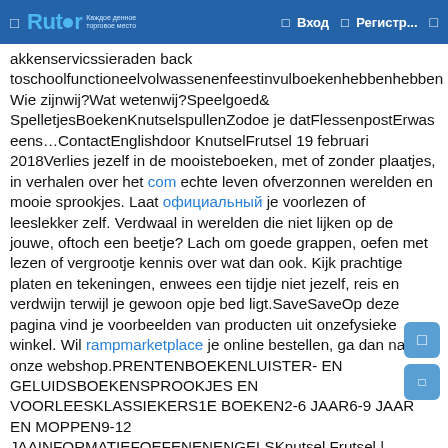Rutor | Вход | Регистр...
akkenservicssieraden back toschoolfunctioneelvolwassenenfeestinvulboekenhebbenhebben Wie zijnwij?Wat wetenwij?Speelgoed& SpelletjesBoekenKnutselspullenZodoe je datFlessenpostErwas eens…ContactEnglishdoor KnutselFrutsel 19 februari 2018Verlies jezelf in de mooisteboeken, met of zonder plaatjes, in verhalen over het com echte leven ofverzonnen werelden en mooie sprookjes. Laat официальный je voorlezen of leeslekker zelf. Verdwaal in werelden die niet lijken op de jouwe, oftoch een beetje? Lach om goede grappen, oefen met lezen of vergrootje kennis over wat dan ook. Kijk prachtige platen en tekeningen, enwees een tijdje niet jezelf, reis en verdwijn terwijl je gewoon opje bed ligt.SaveSaveOp deze pagina vind je voorbeelden van producten uit onzefysieke winkel. Wil rampmarketplace je online bestellen, ga dan naar onze webshop.PRENTENBOEKENLUISTER- EN GELUIDSBOEKENSPROOKJES EN VOORLEESKLASSIEKERS1E BOEKEN2-6 JAAR6-9 JAAR EN MOPPEN9-12 JAAINFORMATIEFOEFENENENGELSKnutsel Frutsel | Hoofddorpweg 19-21 | 1059 CT Amsterdam |